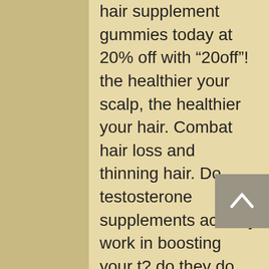hair supplement gummies today at 20% off with “20off”! the healthier your scalp, the healthier your hair. Combat hair loss and thinning hair. Do testosterone supplements actually work in boosting your t? do they do more than just increase your libido? Testosterone booster, prostate health, bodybuilding, brain health, cholesterol reduction, circulatory system, concentration and memory support,. Vitamins &amp; supplements keep yourself healthy and prevent illness by taking vitamins and supplements. Lawtons drugs carries a wide range brands and types. Testosterone boosters are herbal supplements. Most often, bodybuilders will use these to help them gain more muscle mass. And maintenance of normal testosterone levels in the blood. Shop the vitamins for men range online at superdrug. Find the latest offers and read vitamins for men reviews. Free standard delivery order and. Test booster